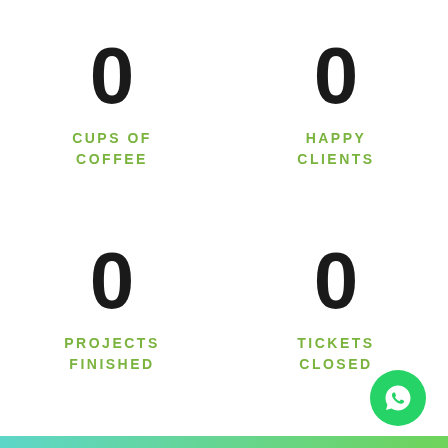0 CUPS OF COFFEE
0 HAPPY CLIENTS
0 PROJECTS FINISHED
0 TICKETS CLOSED
[Figure (logo): WhatsApp icon button — green circle with white phone handset and speech bubble]